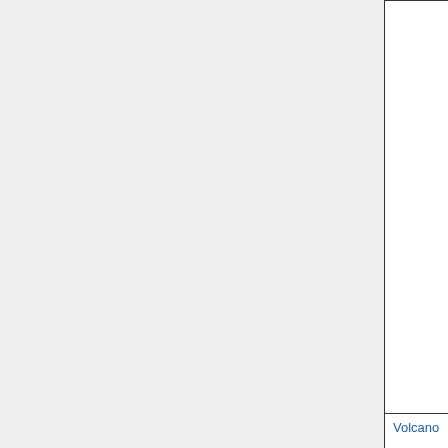| [Name] | [Type] | [Description] |
| --- | --- | --- |
|  |  | VOC e... genera... GEOS... 12.3.0... • GE... me... (0.... 20... • ME... me... (0.... 19... |
| Volcano | Default | Updat... SO2 e... (1978-... eruptiv... throug... 2018 |
| ANTHRO_PM25_DUST | Default | Separ... |